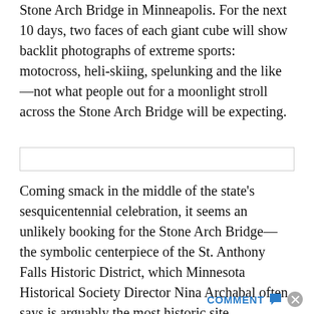Stone Arch Bridge in Minneapolis. For the next 10 days, two faces of each giant cube will show backlit photographs of extreme sports: motocross, heli-skiing, spelunking and the like—not what people out for a moonlight stroll across the Stone Arch Bridge will be expecting.
[Figure (other): Empty rectangular box with a thin border, likely a placeholder for an image or advertisement.]
Coming smack in the middle of the state's sesquicentennial celebration, it seems an unlikely booking for the Stone Arch Bridge—the symbolic centerpiece of the St. Anthony Falls Historic District, which Minnesota Historical Society Director Nina Archabal often says is arguably the most historic site
COMMENT ● ⊗